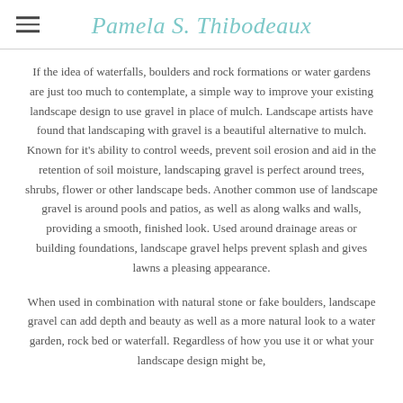Pamela S. Thibodeaux
If the idea of waterfalls, boulders and rock formations or water gardens are just too much to contemplate, a simple way to improve your existing landscape design to use gravel in place of mulch. Landscape artists have found that landscaping with gravel is a beautiful alternative to mulch. Known for it's ability to control weeds, prevent soil erosion and aid in the retention of soil moisture, landscaping gravel is perfect around trees, shrubs, flower or other landscape beds. Another common use of landscape gravel is around pools and patios, as well as along walks and walls, providing a smooth, finished look. Used around drainage areas or building foundations, landscape gravel helps prevent splash and gives lawns a pleasing appearance.
When used in combination with natural stone or fake boulders, landscape gravel can add depth and beauty as well as a more natural look to a water garden, rock bed or waterfall. Regardless of how you use it or what your landscape design might be,